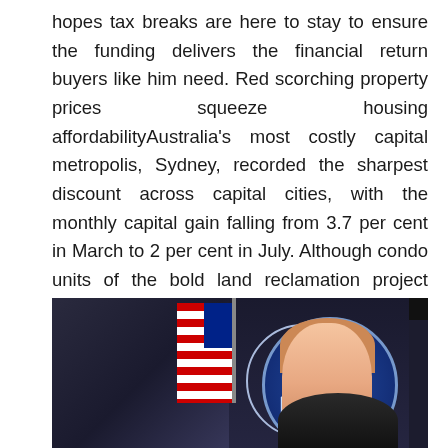hopes tax breaks are here to stay to ensure the funding delivers the financial return buyers like him need. Red scorching property prices squeeze housing affordabilityAustralia's most costly capital metropolis, Sydney, recorded the sharpest discount across capital cities, with the monthly capital gain falling from 3.7 per cent in March to 2 per cent in July. Although condo units of the bold land reclamation project have already been sold to shoppers, the means ahead for the project is extremely unsure now, particularly after Anies Baswedan was voted to turn into the following Jakarta governor.
[Figure (photo): Press briefing room photo showing a woman with reddish-blonde hair at a podium or briefing setting, with an American flag and a circular blue seal (resembling the White House press briefing room backdrop) visible in the background.]